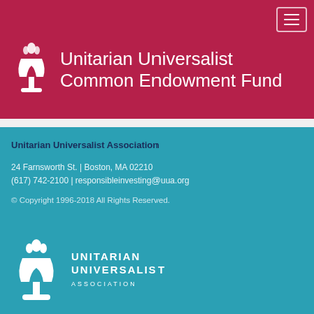[Figure (logo): Unitarian Universalist Common Endowment Fund header logo with UU chalice symbol on crimson/maroon background]
Unitarian Universalist Common Endowment Fund
Unitarian Universalist Association
24 Farnsworth St. | Boston, MA 02210
(617) 742-2100 | responsibleinvesting@uua.org
© Copyright 1996-2018 All Rights Reserved.
[Figure (logo): Unitarian Universalist Association logo — chalice flame icon with UNITARIAN UNIVERSALIST ASSOCIATION text on teal background]